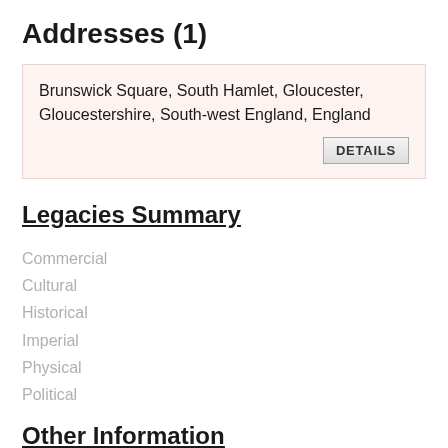Addresses (1)
Brunswick Square, South Hamlet, Gloucester, Gloucestershire, South-west England, England
DETAILS
Legacies Summary
Commercial
Cultural
Historical
Imperial
Physical
Political
Other Information
Relationships [3]